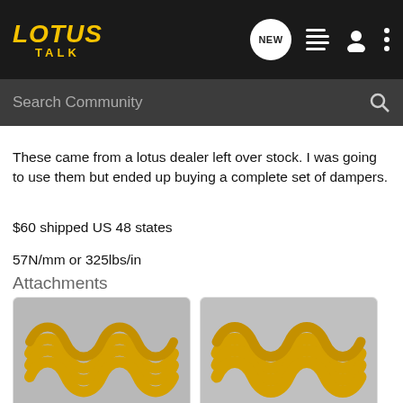LOTUS TALK
These came from a lotus dealer left over stock. I was going to use them but ended up buying a complete set of dampers.
$60 shipped US 48 states
57N/mm or 325lbs/in
Attachments
[Figure (photo): Yellow coil spring (springs2.jpg)]
springs2.jpg
[Figure (photo): Yellow coil spring (springs.jpg)]
springs.jpg